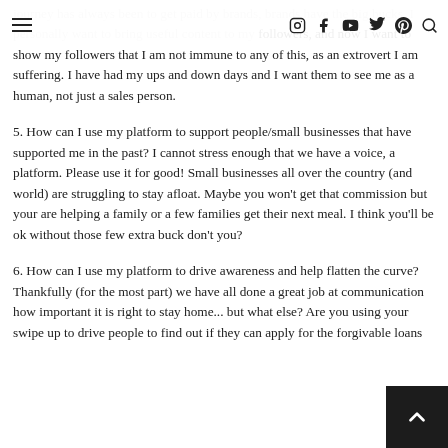Navigation bar with hamburger menu and social icons (Instagram, Facebook, YouTube, Twitter, Pinterest, Search)
journey has always been to get paid by brands, brands have the big bucks. I personally want to bring useful content to my followers, and now I want to show my followers that I am not immune to any of this, as an extrovert I am suffering. I have had my ups and down days and I want them to see me as a human, not just a sales person.
5. How can I use my platform to support people/small businesses that have supported me in the past? I cannot stress enough that we have a voice, a platform. Please use it for good! Small businesses all over the country (and world) are struggling to stay afloat. Maybe you won't get that commission but your are helping a family or a few families get their next meal. I think you'll be ok without those few extra buck don't you?
6. How can I use my platform to drive awareness and help flatten the curve? Thankfully (for the most part) we have all done a great job at communication how important it is right to stay home... but what else? Are you using your swipe up to drive people to find out if they can apply for the forgivable loans